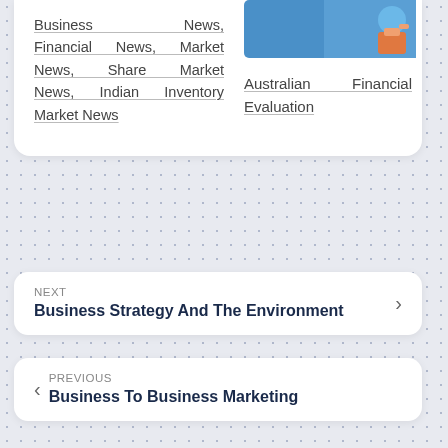Business News, Financial News, Market News, Share Market News, Indian Inventory Market News
[Figure (illustration): Blue background banner illustration with a figure holding something, partial view at top right]
Australian Financial Evaluation
NEXT
Business Strategy And The Environment
PREVIOUS
Business To Business Marketing